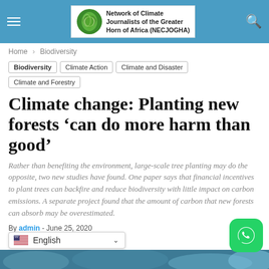Network of Climate Journalists of the Greater Horn of Africa (NECJOGHA)
Home > Biodiversity
Biodiversity
Climate Action
Climate and Disaster
Climate and Forestry
Climate change: Planting new forests ‘can do more harm than good’
Rather than benefiting the environment, large-scale tree planting may do the opposite, two new studies have found. One paper says that financial incentives to plant trees can backfire and reduce biodiversity with little impact on carbon emissions. A separate project found that the amount of carbon that new forests can absorb may be overestimated.
By admin - June 25, 2020